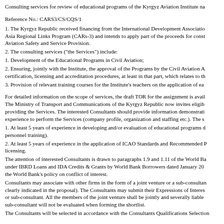Consulting services for review of educational programs of the Kyrgyz Aviation Institute na…
Reference No.: CARS3/CS/CQS/1
1. The Kyrgyz Republic received financing from the International Development Associatio… Asia Regional Links Program (CARs-3) and intends to apply part of the proceeds for consu… Aviation Safety and Service Provision.
2. The consulting services ("the Services") include:
1. Development of the Educational Programs in Civil Aviation;
2. Ensuring, jointly with the Institute, the approval of the Programs by the Civil Aviation A… certification, licensing and accreditation procedures, at least in that part, which relates to th…
3. Provision of relevant training courses for the Institute's teachers on the application of ea…
For detailed information on the scope of services, the draft TOR for the assignment is avail… The Ministry of Transport and Communications of the Kyrgyz Republic now invites eligib… providing the Services. The interested Consultants should provide information demonstrati… experience to perform the Services (company profile, organization and staffing etc.). The s…
1. At least 5 years of experience in developing and/or evaluation of educational programs c… personnel training).
2. At least 5 years of experience in the application of ICAO Standards and Recommended P… licensing.
The attention of interested Consultants is drawn to paragraphs 1.9 and 1.11 of the World Ba… under IBRD Loans and IDA Credits & Grants by World Bank Borrowers dated January 20… the World Bank's policy on conflict of interest.
Consultants may associate with other firms in the form of a joint venture or a sub-consulta… clearly indicated in the proposal). The Consultants may submit their Expressions of Interes… or sub-consultant. All the members of the joint venture shall be jointly and severally liable… sub-consultant will not be evaluated when forming the shortlist.
The Consultants will be selected in accordance with the Consultants Qualifications Selection…